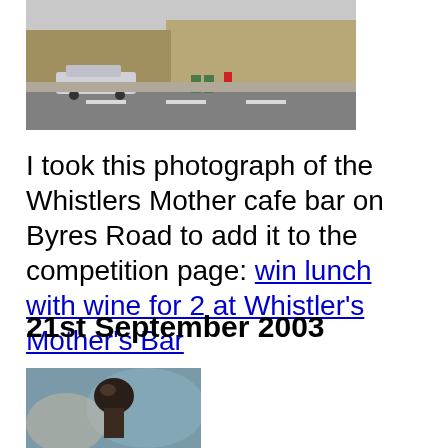[Figure (photo): Street photograph showing a road with cars and a building (Whistlers Mother cafe bar) on Byres Road]
I took this photograph of the Whistlers Mother cafe bar on Byres Road to add it to the competition page: win lunch with wine for 2 at Whistler's Mother's Bar
21st September 2003
[Figure (photo): Close-up photograph, appears to show a decorative or sculptural object with blurred background]